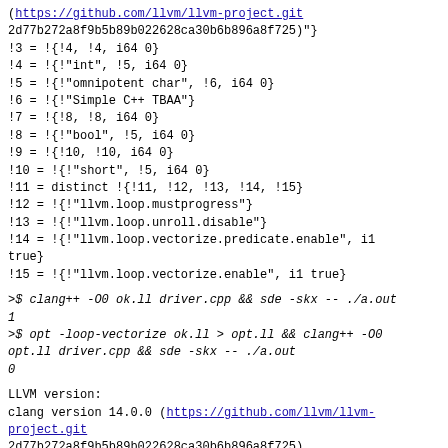(<link>https://github.com/llvm/llvm-project.git</link>
2d77b272a8f9b5b89b022628ca30b6b896a8f725)"}
!3 = !{!4, !4, i64 0}
!4 = !{!"int", !5, i64 0}
!5 = !{!"omnipotent char", !6, i64 0}
!6 = !{!"Simple C++ TBAA"}
!7 = !{!8, !8, i64 0}
!8 = !{!"bool", !5, i64 0}
!9 = !{!10, !10, i64 0}
!10 = !{!"short", !5, i64 0}
!11 = distinct !{!11, !12, !13, !14, !15}
!12 = !{!"llvm.loop.mustprogress"}
!13 = !{!"llvm.loop.unroll.disable"}
!14 = !{!"llvm.loop.vectorize.predicate.enable", i1
true}
!15 = !{!"llvm.loop.vectorize.enable", i1 true}
>$ clang++ -O0 ok.ll driver.cpp && sde -skx -- ./a.out
1
>$ opt -loop-vectorize ok.ll > opt.ll && clang++ -O0
opt.ll driver.cpp && sde -skx -- ./a.out
0
LLVM version:
clang version 14.0.0 (https://github.com/llvm/llvm-project.git
2d77b272a8f9b5b89b022628ca30b6b896a8f725)
--
You are receiving this mail because: